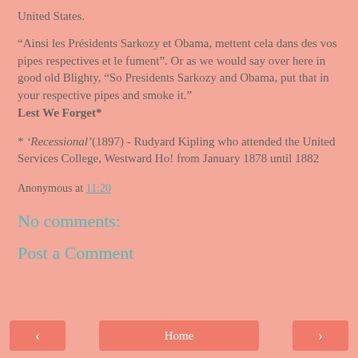United States.
“Ainsi les Présidents Sarkozy et Obama, mettent cela dans des vos pipes respectives et le fument”. Or as we would say over here in good old Blighty, “So Presidents Sarkozy and Obama, put that in your respective pipes and smoke it.” Lest We Forget*
* ‘Recessional’(1897) - Rudyard Kipling who attended the United Services College, Westward Ho! from January 1878 until 1882
Anonymous at 11:20
No comments:
Post a Comment